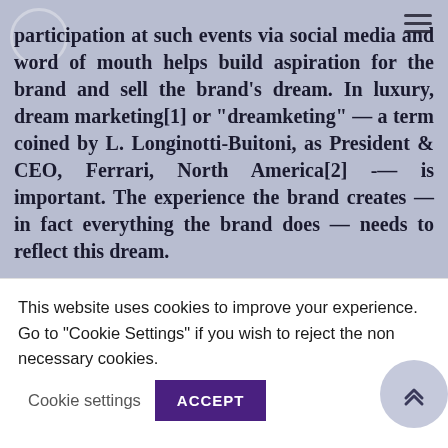participation at such events via social media and word of mouth helps build aspiration for the brand and sell the brand's dream. In luxury, dream marketing[1] or "dreamketing" — a term coined by L. Longinotti-Buitoni, as President & CEO, Ferrari, North America[2] — is important. The experience the brand creates — in fact everything the brand does — needs to reflect this dream.
"Custom...
This website uses cookies to improve your experience. Go to "Cookie Settings" if you wish to reject the non necessary cookies. Cookie settings ACCEPT